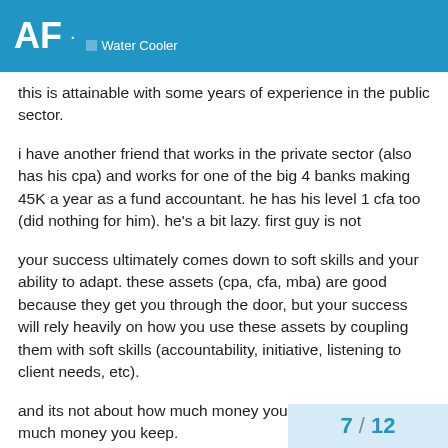AF · Water Cooler
this is attainable with some years of experience in the public sector.
i have another friend that works in the private sector (also has his cpa) and works for one of the big 4 banks making 45K a year as a fund accountant. he has his level 1 cfa too (did nothing for him). he's a bit lazy. first guy is not
your success ultimately comes down to soft skills and your ability to adapt. these assets (cpa, cfa, mba) are good because they get you through the door, but your success will rely heavily on how you use these assets by coupling them with soft skills (accountability, initiative, listening to client needs, etc).
and its not about how much money you make, its about how much money you keep.
7 / 12